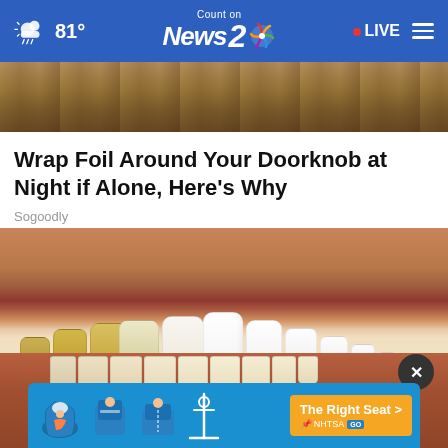81° | Count on News 2 NBC | LIVE
[Figure (photo): Top strip: partial image showing wooden/metallic background (doorknob context)]
Wrap Foil Around Your Doorknob at Night if Alone, Here's Why
Sogoodly
[Figure (photo): Close-up photograph of a smile showing teeth in before/after whitening comparison — left side teeth appear yellow/stained, right side teeth appear bright white. Lower gum tissue visible.]
[Figure (infographic): Ad banner: NHTSA car seat safety ad with car seat icons and 'The Right Seat >' call to action button on orange background]